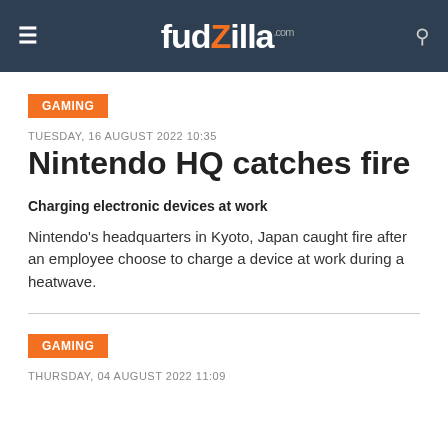fudzilla.com
GAMING
TUESDAY, 16 AUGUST 2022 10:35
Nintendo HQ catches fire
Charging electronic devices at work
Nintendo's headquarters in Kyoto, Japan caught fire after an employee choose to charge a device at work during a heatwave.
GAMING
THURSDAY, 04 AUGUST 2022 11:09